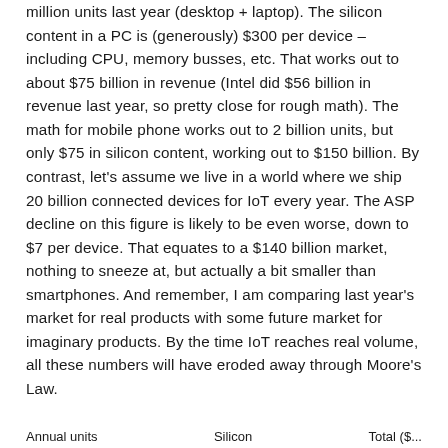million units last year (desktop + laptop). The silicon content in a PC is (generously) $300 per device – including CPU, memory busses, etc. That works out to about $75 billion in revenue (Intel did $56 billion in revenue last year, so pretty close for rough math). The math for mobile phone works out to 2 billion units, but only $75 in silicon content, working out to $150 billion. By contrast, let's assume we live in a world where we ship 20 billion connected devices for IoT every year. The ASP decline on this figure is likely to be even worse, down to $7 per device. That equates to a $140 billion market, nothing to sneeze at, but actually a bit smaller than smartphones. And remember, I am comparing last year's market for real products with some future market for imaginary products. By the time IoT reaches real volume, all these numbers will have eroded away through Moore's Law.
Annual units     Silicon     Total ($...